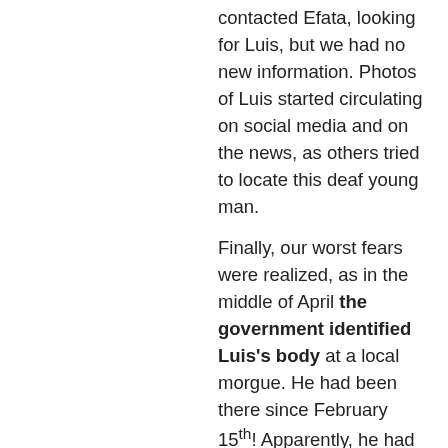contacted Efata, looking for Luis, but we had no new information. Photos of Luis started circulating on social media and on the news, as others tried to locate this deaf young man.

Finally, our worst fears were realized, as in the middle of April the government identified Luis's body at a local morgue. He had been there since February 15th! Apparently, he had been mugged and murdered on the unforgiving streets of Lima, possibly the day after he returned from camp. As I heard the news, all I could think of was that I would see Luis again in heaven! That our deaf camp had made an eternal difference. That Luis's life was changed forever because of the love we showed him, and more to the point, because of God's love.